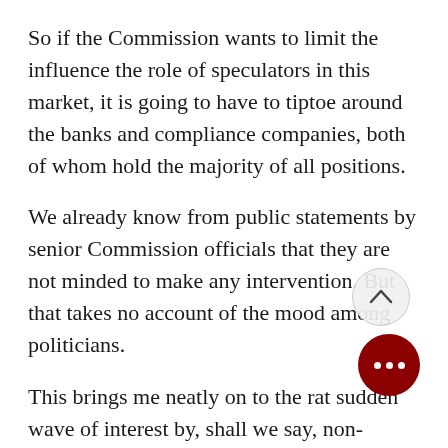So if the Commission wants to limit the influence the role of speculators in this market, it is going to have to tiptoe around the banks and compliance companies, both of whom hold the majority of all positions.
We already know from public statements by senior Commission officials that they are not minded to make any intervention. But that takes no account of the mood among politicians.
This brings me neatly on to the rat sudden wave of interest by, shall we say, non-traditional speculators. Th been a strong increase in the chat social media about EUAs, and there's no